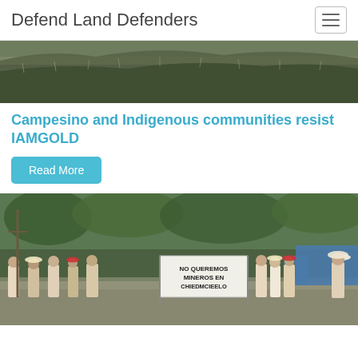Defend Land Defenders
[Figure (photo): Landscape photo of dry grassland hillside with sparse vegetation]
Campesino and Indigenous communities resist IAMGOLD
Read More
[Figure (photo): Protest photo showing a crowd of people marching, with a banner reading 'NO QUEREMOS MINEROS EN CHIEDMCIEELO']